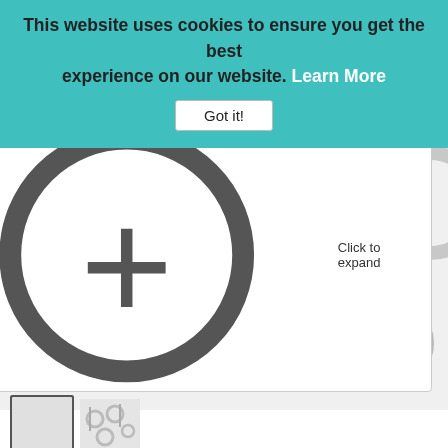This website uses cookies to ensure you get the best experience on our website. Learn More
Got it!
[Figure (photo): Close-up photo of silver toggle clasp jewelry components — T-bar and ring clasps with flower motif, shown on white background. Multiple pieces visible including assembled and disassembled clasps.]
Click to expand
[Figure (photo): Small thumbnail image of multiple silver toggle clasps arranged together, shown with border highlight.]
[Figure (photo): Second thumbnail image showing silver toggle clasps and rings spread out.]